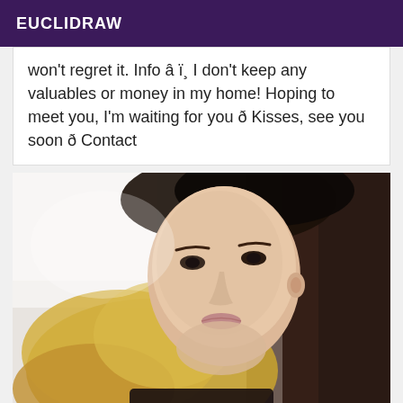EUCLIDRAW
won't regret it. Info â ï¸ I don't keep any valuables or money in my home! Hoping to meet you, I'm waiting for you ð Kisses, see you soon ð Contact
[Figure (photo): Close-up portrait photo of a young woman with long wavy blonde hair and dark eyes, looking at the camera with a neutral expression, wearing a black top.]